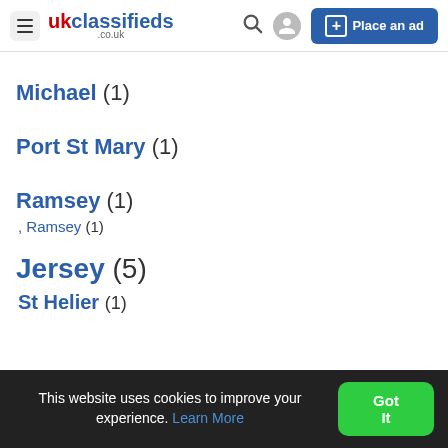ukclassifieds .co.uk — Place an ad
Michael (1)
Port St Mary (1)
Ramsey (1)
, Ramsey (1)
Jersey (5)
St Helier (1)
This website uses cookies to improve your experience. Learn More